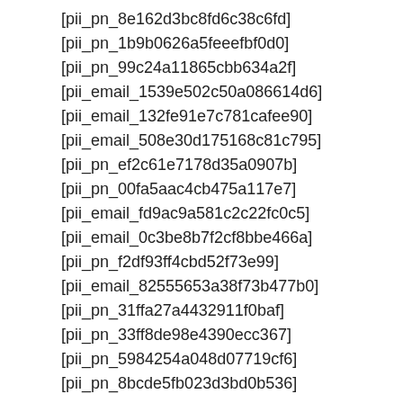[pii_pn_8e162d3bc8fd6c38c6fd]
[pii_pn_1b9b0626a5feeefbf0d0]
[pii_pn_99c24a11865cbb634a2f]
[pii_email_1539e502c50a086614d6]
[pii_email_132fe91e7c781cafee90]
[pii_email_508e30d175168c81c795]
[pii_pn_ef2c61e7178d35a0907b]
[pii_pn_00fa5aac4cb475a117e7]
[pii_email_fd9ac9a581c2c22fc0c5]
[pii_email_0c3be8b7f2cf8bbe466a]
[pii_pn_f2df93ff4cbd52f73e99]
[pii_email_82555653a38f73b477b0]
[pii_pn_31ffa27a4432911f0baf]
[pii_pn_33ff8de98e4390ecc367]
[pii_pn_5984254a048d07719cf6]
[pii_pn_8bcde5fb023d3bd0b536]